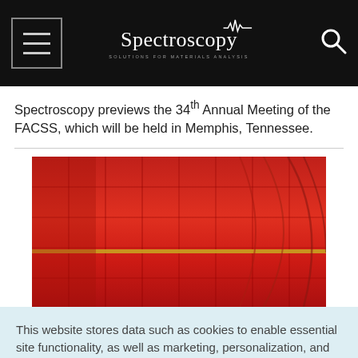Spectroscopy — Solutions for Materials Analysis
Spectroscopy previews the 34th Annual Meeting of the FACSS, which will be held in Memphis, Tennessee.
[Figure (photo): Close-up photo showing a reddish spectral image with a horizontal golden/yellow line and curved interference fringes against a red background.]
This website stores data such as cookies to enable essential site functionality, as well as marketing, personalization, and analytics. Cookie Policy
Accept
Deny